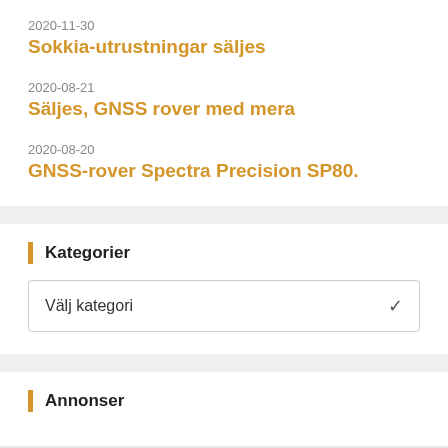2020-11-30
Sokkia-utrustningar säljes
2020-08-21
Säljes, GNSS rover med mera
2020-08-20
GNSS-rover Spectra Precision SP80.
Kategorier
Välj kategori
Annonser